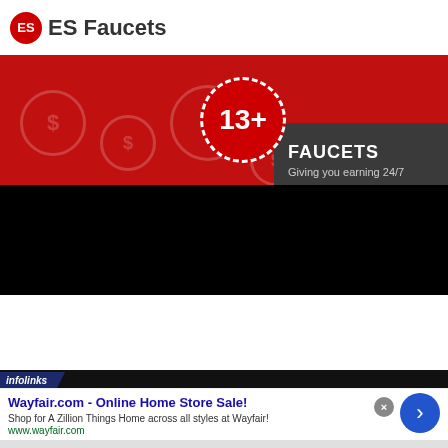ES Faucets
[Figure (infographic): Red banner with 13+ badge circle and dark gray panel reading FAUCETS / Giving you earning 24/7]
[Figure (screenshot): Black navigation bar with hamburger menu icon]
[Figure (infographic): Infolinks advertisement: Wayfair.com - Online Home Store Sale! Shop for A Zillion Things Home across all styles at Wayfair! www.wayfair.com, with blue arrow button and close X button]
Wayfair.com - Online Home Store Sale!
Shop for A Zillion Things Home across all styles at Wayfair!
www.wayfair.com